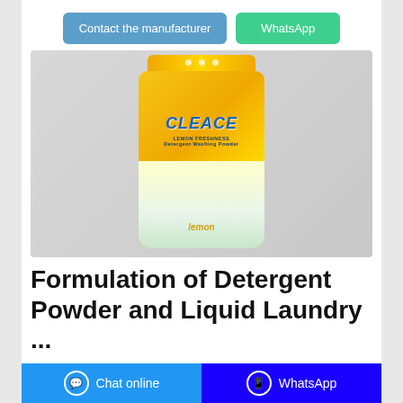[Figure (other): Two buttons: 'Contact the manufacturer' (blue) and 'WhatsApp' (green)]
[Figure (photo): Photo of a yellow lemon-scented CLEACE washing powder bag on a grey background]
Formulation of Detergent Powder and Liquid Laundry ...
Chat online   WhatsApp